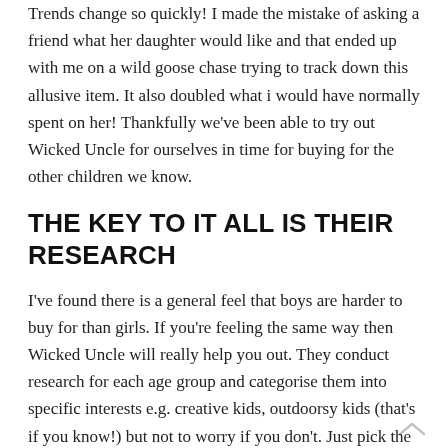Trends change so quickly! I made the mistake of asking a friend what her daughter would like and that ended up with me on a wild goose chase trying to track down this allusive item. It also doubled what i would have normally spent on her! Thankfully we've been able to try out Wicked Uncle for ourselves in time for buying for the other children we know.
THE KEY TO IT ALL IS THEIR RESEARCH
I've found there is a general feel that boys are harder to buy for than girls. If you're feeling the same way then Wicked Uncle will really help you out. They conduct research for each age group and categorise them into specific interests e.g. creative kids, outdoorsy kids (that's if you know!) but not to worry if you don't. Just pick the most popular and you're bound to be a hit come Christmas day.